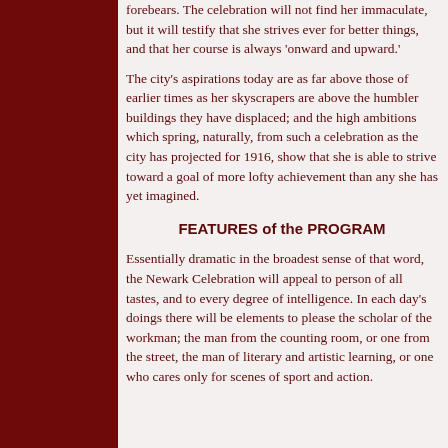forebears. The celebration will not find her immaculate, but it will testify that she strives ever for better things, and that her course is always 'onward and upward.'
The city's aspirations today are as far above those of earlier times as her skyscrapers are above the humbler buildings they have displaced; and the high ambitions which spring, naturally, from such a celebration as the city has projected for 1916, show that she is able to strive toward a goal of more lofty achievement than any she has yet imagined.
FEATURES of the PROGRAM
Essentially dramatic in the broadest sense of that word, the Newark Celebration will appeal to person of all tastes, and to every degree of intelligence. In each day's doings there will be elements to please the scholar of the workman; the man from the counting room, or one from the street, the man of literary and artistic learning, or one who cares only for scenes of sport and action.